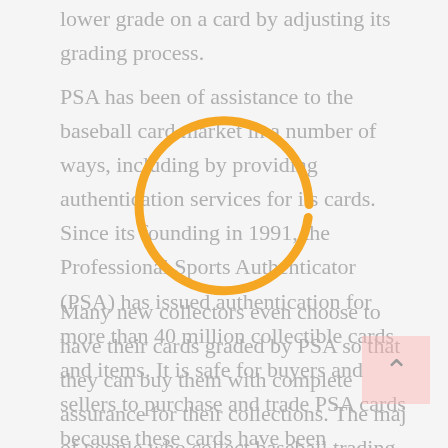lower grade on a card by adjusting its grading process.
PSA has been of assistance to the baseball card market in a number of ways, including by providing authentication services for its cards. Since its founding in 1991, the Professional Sports Authenticator (PSA) has issued authentication for more than 40 million collectible cards and items. It is safe for buyers and sellers to purchase and trade PSA cards because these cards have been approved by an independent authentication service.
[Figure (illustration): A circular ring/highlight drawn in orange/amber color, overlaying the text in the middle of the page, used as a visual annotation or callout.]
Many new collectors even choose to have their cards graded by PSA so that they can buy them with complete assurance for their collections. The maj of people who collect baseball trading cards don't question whether or not a PSA card is authentic.